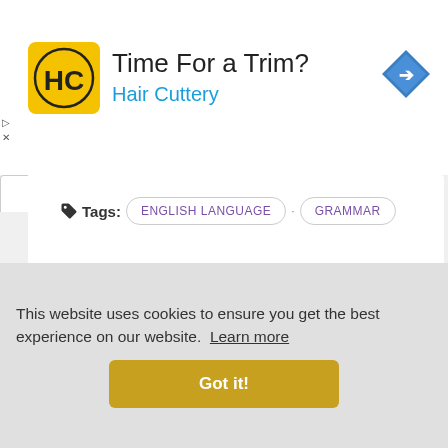[Figure (screenshot): Advertisement banner for Hair Cuttery with yellow logo showing HC letters, text 'Time For a Trim?' and 'Hair Cuttery' in blue, with a blue diamond navigation arrow icon on the right]
Tags: ENGLISH LANGUAGE · GRAMMAR · IELTS PREPARATION · PREPOSITIONS
This website uses cookies to ensure you get the best experience on our website. Learn more
Got it!